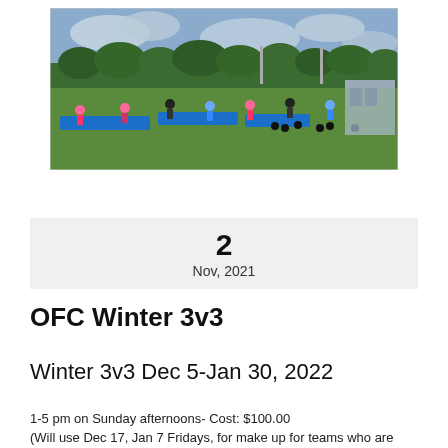[Figure (photo): Outdoor sports field with blue track barriers, green grass, players scattered across the field, trees and cloudy sky in background, baseball/softball facility visible on the right]
2
Nov, 2021
OFC Winter 3v3
Winter 3v3 Dec 5-Jan 30, 2022
1-5 pm on Sunday afternoons- Cost: $100.00
(Will use Dec 17, Jan 7 Fridays, for make up for teams who are